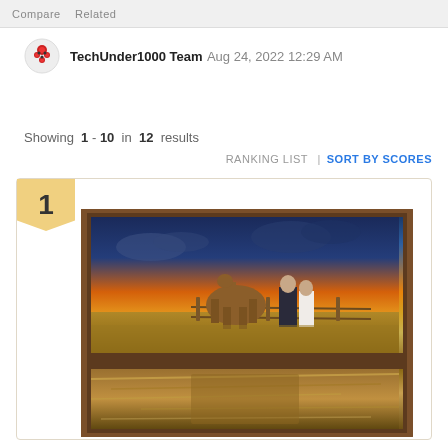Compare   Related
TechUnder1000 Team  Aug 24, 2022 12:29 AM
Advertiser Disclosure
Showing 1 - 10 in 12 results
RANKING LIST | SORT BY SCORES
[Figure (photo): Rank 1 product: wooden frame photo collage showing a couple walking with a horse at sunset in a field, with additional photo strips below]
1